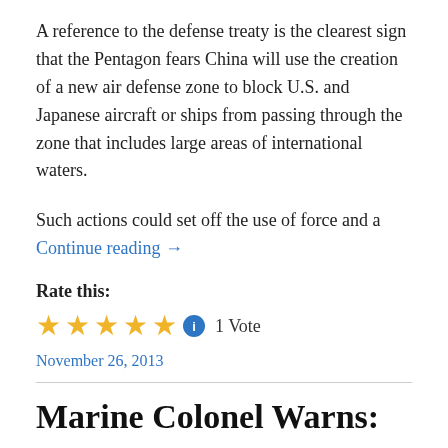A reference to the defense treaty is the clearest sign that the Pentagon fears China will use the creation of a new air defense zone to block U.S. and Japanese aircraft or ships from passing through the zone that includes large areas of international waters.
Such actions could set off the use of force and a Continue reading →
Rate this:
[Figure (other): Five gold stars rating widget with info icon and 1 Vote label]
November 26, 2013
Marine Colonel Warns: